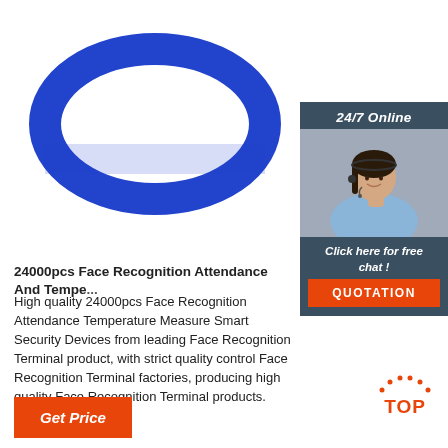[Figure (photo): Blue silicone wristband/bracelet product photo on white background]
[Figure (photo): Sidebar: 24/7 Online customer service agent (woman with headset) with 'Click here for free chat!' text and orange QUOTATION button]
24000pcs Face Recognition Attendance And Tempe...
High quality 24000pcs Face Recognition Attendance Temperature Measure Smart Security Devices from leading Face Recognition Terminal product, with strict quality control Face Recognition Terminal factories, producing high quality Face Recognition Terminal products.
[Figure (other): Orange dotted TOP button graphic]
Get Price